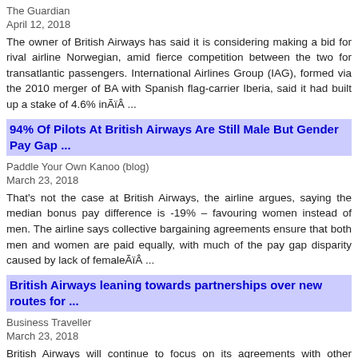The Guardian
April 12, 2018
The owner of British Airways has said it is considering making a bid for rival airline Norwegian, amid fierce competition between the two for transatlantic passengers. International Airlines Group (IAG), formed via the 2010 merger of BA with Spanish flag-carrier Iberia, said it had built up a stake of 4.6% inÃ¯  ...
94% Of Pilots At British Airways Are Still Male But Gender Pay Gap ...
Paddle Your Own Kanoo (blog)
March 23, 2018
That's not the case at British Airways, the airline argues, saying the median bonus pay difference is -19% – favouring women instead of men. The airline says collective bargaining agreements ensure that both men and women are paid equally, with much of the pay gap disparity caused by lack of femaleÃ¯  ...
British Airways leaning towards partnerships over new routes for ...
Business Traveller
March 23, 2018
British Airways will continue to focus on its agreements with other carriers rather than opening up new routes as it aims to increase its presence in the mainland China market, CEO Alex Cruz said at a media roundtable on Tuesday. "We cannot be a major player on the international stage and